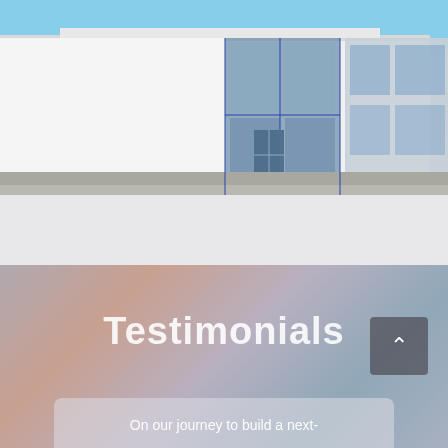[Figure (photo): Exterior photo of a modern white LEONI building with blue-framed glass windows and entrance doors, blue sky background]
Testimonials
On our journey to build a next-